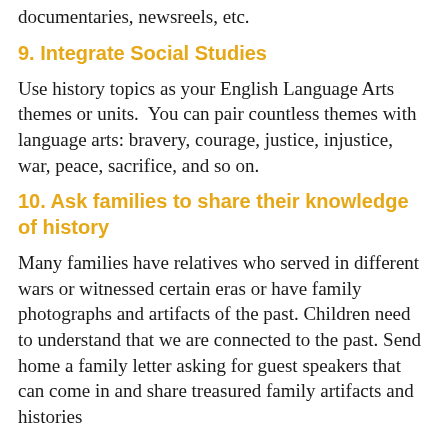documentaries, newsreels, etc.
9. Integrate Social Studies
Use history topics as your English Language Arts themes or units.  You can pair countless themes with language arts: bravery, courage, justice, injustice, war, peace, sacrifice, and so on.
10. Ask families to share their knowledge of history
Many families have relatives who served in different wars or witnessed certain eras or have family photographs and artifacts of the past. Children need to understand that we are connected to the past. Send home a family letter asking for guest speakers that can come in and share treasured family artifacts and histories